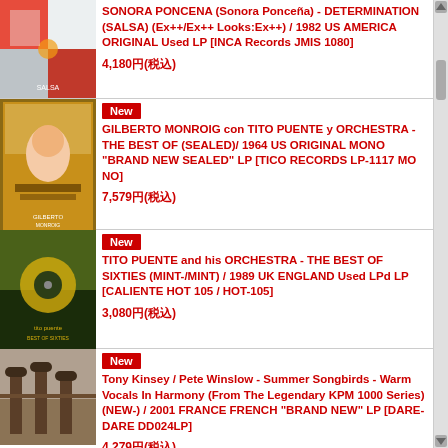SONORA PONCENA (Sonora Ponceña) - DETERMINATION (SALSA) (Ex++/Ex++ Looks:Ex++) / 1982 US AMERICA ORIGINAL Used LP [INCA Records JMIS 1080] 4,180円(税込)
New GILBERTO MONROIG con TITO PUENTE y ORCHESTRA - THE BEST OF (SEALED)/ 1964 US ORIGINAL MONO "BRAND NEW SEALED" LP [TICO RECORDS LP-1117 MONO] 7,579円(税込)
New TITO PUENTE and his ORCHESTRA - THE BEST OF SIXTIES (MINT-/MINT) / 1989 UK ENGLAND Used LPd LP [CALIENTE HOT 105 / HOT-105] 3,080円(税込)
New Tony Kinsey / Pete Winslow - Summer Songbirds - Warm Vocals In Harmony (From The Legendary KPM 1000 Series) (NEW-) / 2001 FRANCE FRENCH "BRAND NEW" LP [DARE-DARE DD024LP] 4,279円(税込)